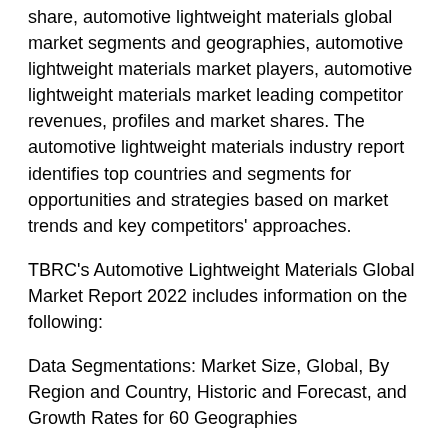share, automotive lightweight materials global market segments and geographies, automotive lightweight materials market players, automotive lightweight materials market leading competitor revenues, profiles and market shares. The automotive lightweight materials industry report identifies top countries and segments for opportunities and strategies based on market trends and key competitors' approaches.
TBRC's Automotive Lightweight Materials Global Market Report 2022 includes information on the following:
Data Segmentations: Market Size, Global, By Region and Country, Historic and Forecast, and Growth Rates for 60 Geographies
Key Market Players: BASF SE, Covestro AG, LyondellBasell Industries Holdings B.V, Toray Industries Inc, ArcelorMittal, ThyssenKrupp AG, Novelis Inc, Alcoa Corporation,